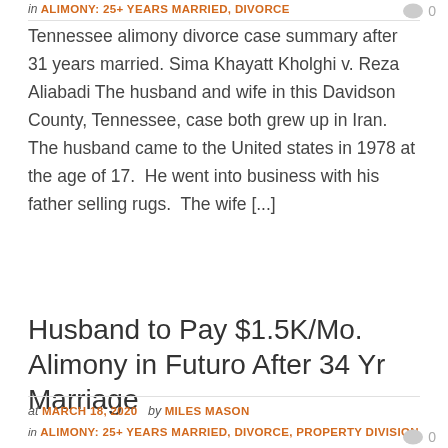in ALIMONY: 25+ YEARS MARRIED, DIVORCE
Tennessee alimony divorce case summary after 31 years married. Sima Khayatt Kholghi v. Reza Aliabadi The husband and wife in this Davidson County, Tennessee, case both grew up in Iran.  The husband came to the United states in 1978 at the age of 17.  He went into business with his father selling rugs.  The wife [...]
Read More»
Husband to Pay $1.5K/Mo. Alimony in Futuro After 34 Yr Marriage
at MARCH 18, 2020  by MILES MASON
in ALIMONY: 25+ YEARS MARRIED, DIVORCE, PROPERTY DIVISION